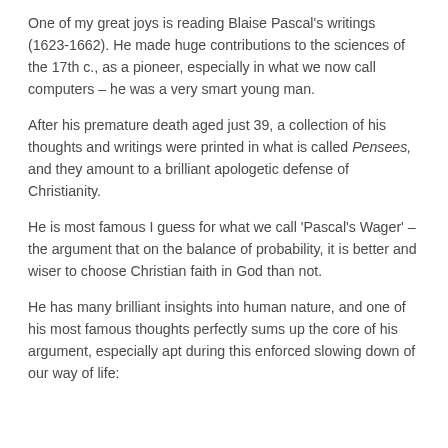One of my great joys is reading Blaise Pascal's writings (1623-1662). He made huge contributions to the sciences of the 17th c., as a pioneer, especially in what we now call computers – he was a very smart young man.
After his premature death aged just 39, a collection of his thoughts and writings were printed in what is called Pensees, and they amount to a brilliant apologetic defense of Christianity.
He is most famous I guess for what we call 'Pascal's Wager' – the argument that on the balance of probability, it is better and wiser to choose Christian faith in God than not.
He has many brilliant insights into human nature, and one of his most famous thoughts perfectly sums up the core of his argument, especially apt during this enforced slowing down of our way of life: